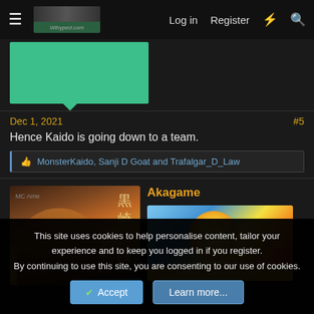Log in  Register
[Figure (screenshot): Green banner/image placeholder]
Dec 1, 2021   #5
Hence Kaido is going down to a team.
MonsterKaido, Sanji D Goat and Trafalgar_D_Law
Akagame
[Figure (illustration): Anime character avatar - Bleach character with kanji]
[Figure (screenshot): Happy Anniversary banner with anime character]
This site uses cookies to help personalise content, tailor your experience and to keep you logged in if you register.
By continuing to use this site, you are consenting to our use of cookies.
Accept  Learn more...